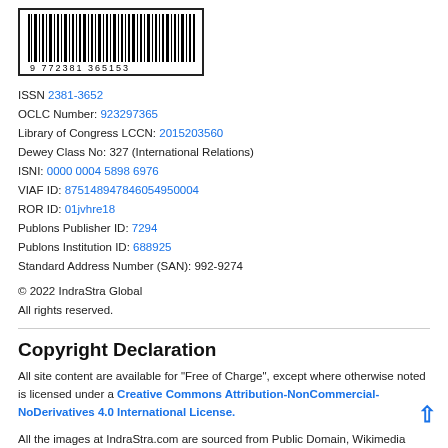[Figure (other): Barcode image with number 9 772381 365153]
ISSN 2381-3652
OCLC Number: 923297365
Library of Congress LCCN: 2015203560
Dewey Class No: 327 (International Relations)
ISNI: 0000 0004 5898 6976
VIAF ID: 875148947846054950004
ROR ID: 01jvhre18
Publons Publisher ID: 7294
Publons Institution ID: 688925
Standard Address Number (SAN): 992-9274
© 2022 IndraStra Global
All rights reserved.
Copyright Declaration
All site content are available for "Free of Charge", except where otherwise noted is licensed under a Creative Commons Attribution-NonCommercial-NoDerivatives 4.0 International License.
All the images at IndraStra.com are sourced from Public Domain, Wikimedia Commons and other open sources only, except where otherwise noted and strictly used for "editorial purposes" only. Click Here to Read Detailed Licensing Policy and Legal Declaration Page